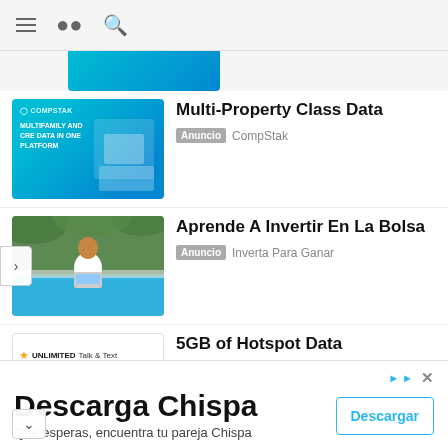≡ 🔍
[Figure (screenshot): Truncated top of a teal advertisement thumbnail]
Multi-Property Class Data
Anuncio  CompStak
[Figure (screenshot): CompStak ad thumbnail with teal gradient, logo and text: MULTIFAMILY AND CRE DATA IN ONE PLATFORM]
Aprende A Invertir En La Bolsa
Anuncio  Inverta Para Ganar
[Figure (photo): Man with laptop sitting by a pool with green tropical background]
5GB of Hotspot Data
Anuncio  Lifeline + ACP
[Figure (screenshot): Ad thumbnail showing: UNLIMITED Talk & Text with Calls to Canada & Mexico, 25GB of High-Speed Data, and up to 5GB of Hotspot Data]
Descarga Chispa
Que esperas, encuentra tu pareja Chispa